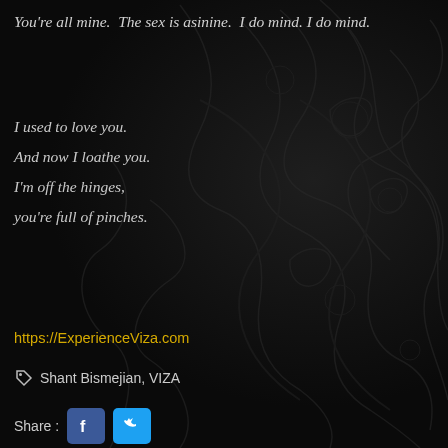You're all mine.  The sex is asinine.  I do mind. I do mind.
I used to love you.

And now I loathe you.

I'm off the hinges,

you're full of pinches.
https://ExperienceViza.com
Shant Bismejian, VIZA
Share :
VIZA RETURNS TO THE TROUBADOUR – FEBRUARY 1, 2018